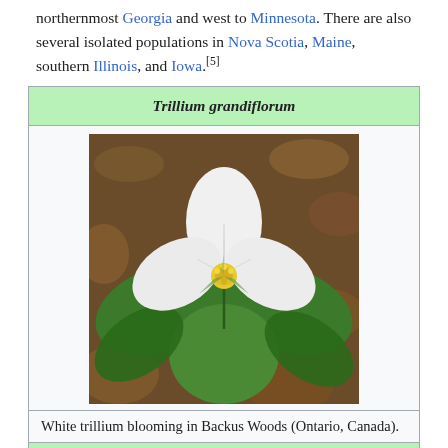northernmost Georgia and west to Minnesota. There are also several isolated populations in Nova Scotia, Maine, southern Illinois, and Iowa.[5]
Trillium grandiflorum
[Figure (photo): White trillium flower (Trillium grandiflorum) blooming with large white three-petaled flower and green leaves, photographed in Backus Woods, Ontario, Canada.]
White trillium blooming in Backus Woods (Ontario, Canada).
Conservation status